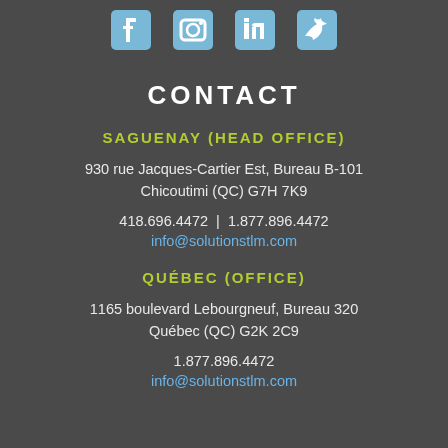[Figure (illustration): Four social media icons (Facebook, Instagram, LinkedIn, Twitter) displayed as pixel-art style icons in light blue color at the top of the page]
CONTACT
SAGUENAY (HEAD OFFICE)
930 rue Jacques-Cartier Est, Bureau B-101
Chicoutimi (QC) G7H 7K9
418.696.4472  |  1.877.896.4472
info@solutionstlm.com
QUÉBEC (OFFICE)
1165 boulevard Lebourgneuf, Bureau 320
Québec (QC) G2K 2C9
1.877.896.4472
info@solutionstlm.com